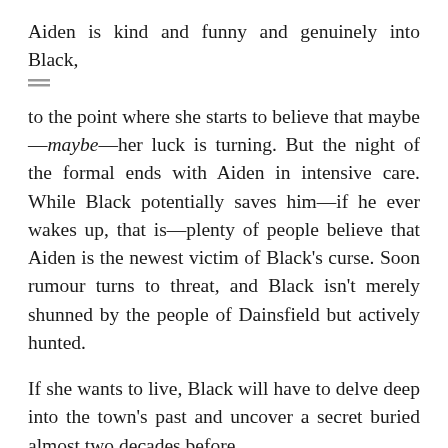Aiden is kind and funny and genuinely into Black, to the point where she starts to believe that maybe—maybe—her luck is turning. But the night of the formal ends with Aiden in intensive care. While Black potentially saves him—if he ever wakes up, that is—plenty of people believe that Aiden is the newest victim of Black's curse. Soon rumour turns to threat, and Black isn't merely shunned by the people of Dainsfield but actively hunted.
If she wants to live, Black will have to delve deep into the town's past and uncover a secret buried almost two decades before.
Black is a thrilling and sinister read about the monsters we become when fear gets the better of us.
Fleur Ferris' debut novel, Risk, was one of the first books I reviewed here on Lectito. I really enjoyed the book and Fleur…